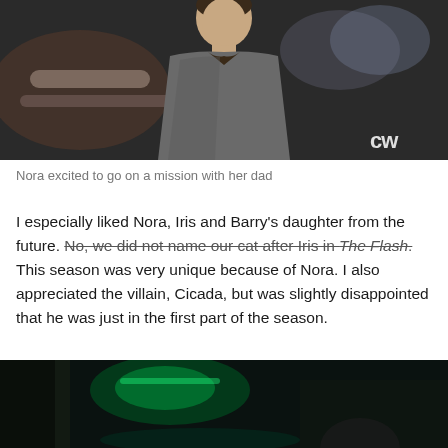[Figure (photo): A man in a grey shirt looking upward, with a blurred background featuring lights and a 'CW' network logo watermark in the bottom-right corner.]
Nora excited to go on a mission with her dad
I especially liked Nora, Iris and Barry's daughter from the future. No, we did not name our cat after Iris in The Flash. This season was very unique because of Nora. I also appreciated the villain, Cicada, but was slightly disappointed that he was just in the first part of the season.
[Figure (photo): A dark scene with green lighting, showing partial figures in a dimly lit environment.]